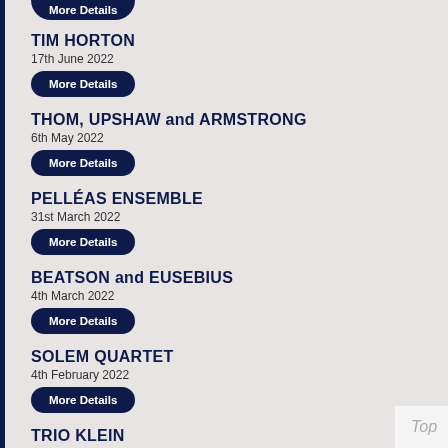TIM HORTON
17th June 2022
THOM, UPSHAW and ARMSTRONG
6th May 2022
PELLÉAS ENSEMBLE
31st March 2022
BEATSON and EUSEBIUS
4th March 2022
SOLEM QUARTET
4th February 2022
TRIO KLEIN
19th November 2021